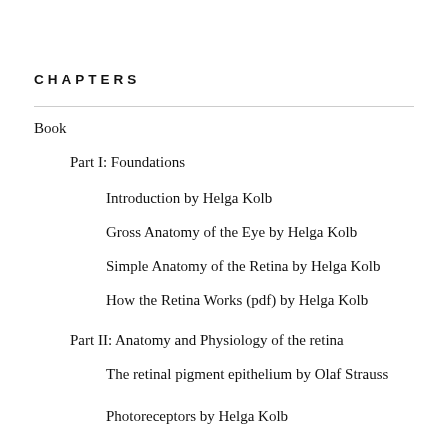CHAPTERS
Book
Part I: Foundations
Introduction by Helga Kolb
Gross Anatomy of the Eye by Helga Kolb
Simple Anatomy of the Retina by Helga Kolb
How the Retina Works (pdf) by Helga Kolb
Part II: Anatomy and Physiology of the retina
The retinal pigment epithelium by Olaf Strauss
Photoreceptors by Helga Kolb